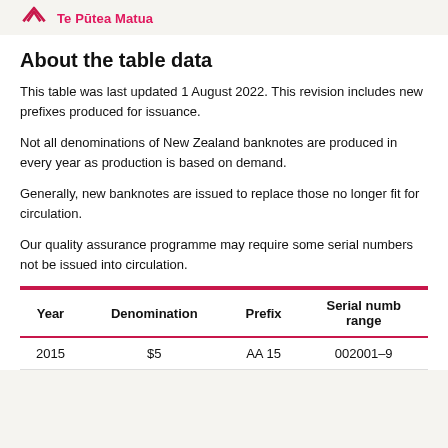Te Pūtea Matua
About the table data
This table was last updated 1 August 2022. This revision includes new prefixes produced for issuance.
Not all denominations of New Zealand banknotes are produced in every year as production is based on demand.
Generally, new banknotes are issued to replace those no longer fit for circulation.
Our quality assurance programme may require some serial numbers not be issued into circulation.
| Year | Denomination | Prefix | Serial number range |
| --- | --- | --- | --- |
| 2015 | $5 | AA 15 | 002001–9… |